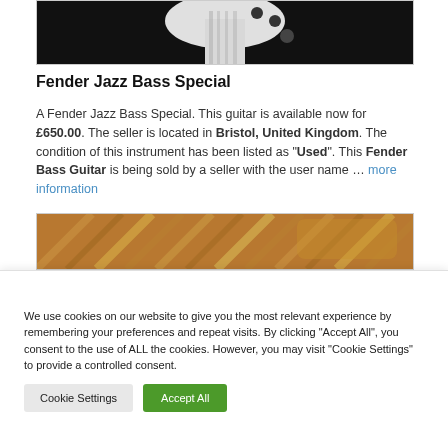[Figure (photo): Top portion of a white Fender Jazz Bass guitar body and headstock against a dark background]
Fender Jazz Bass Special
A Fender Jazz Bass Special. This guitar is available now for £650.00. The seller is located in Bristol, United Kingdom. The condition of this instrument has been listed as "Used". This Fender Bass Guitar is being sold by a seller with the user name … more information
[Figure (photo): Guitar body resting on a wooden floor, warm golden-brown tones]
We use cookies on our website to give you the most relevant experience by remembering your preferences and repeat visits. By clicking "Accept All", you consent to the use of ALL the cookies. However, you may visit "Cookie Settings" to provide a controlled consent.